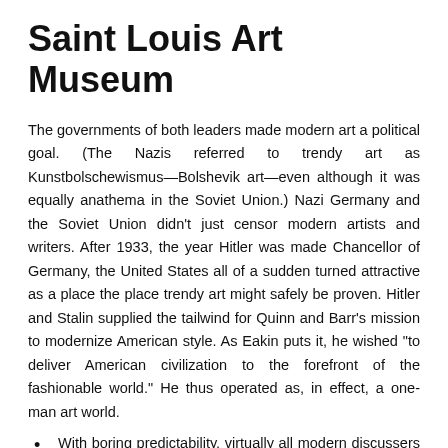Saint Louis Art Museum
The governments of both leaders made modern art a political goal. (The Nazis referred to trendy art as Kunstbolschewismus—Bolshevik art—even although it was equally anathema in the Soviet Union.) Nazi Germany and the Soviet Union didn't just censor modern artists and writers. After 1933, the year Hitler was made Chancellor of Germany, the United States all of a sudden turned attractive as a place the place trendy art might safely be proven. Hitler and Stalin supplied the tailwind for Quinn and Barr's mission to modernize American style. As Eakin puts it, he wished "to deliver American civilization to the forefront of the fashionable world." He thus operated as, in effect, a one-man art world.
With boring predictability, virtually all modern discussers of art lapse into a 'relative-off', whereby they go to annoying lengths to demonstrate how open-minded they're and how ineluctably loose the concept of art